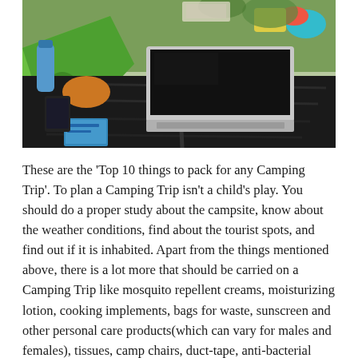[Figure (photo): A person lying in a sleeping bag inside or near a green tent outdoors, with an open laptop resting on their lap/legs. Other camping gear visible including a water bottle, a tablet or phone, and colorful items in the background.]
These are the 'Top 10 things to pack for any Camping Trip'. To plan a Camping Trip isn't a child's play. You should do a proper study about the campsite, know about the weather conditions, find about the tourist spots, and find out if it is inhabited. Apart from the things mentioned above, there is a lot more that should be carried on a Camping Trip like mosquito repellent creams, moisturizing lotion, cooking implements, bags for waste, sunscreen and other personal care products(which can vary for males and females), tissues, camp chairs, duct-tape, anti-bacterial soap, board